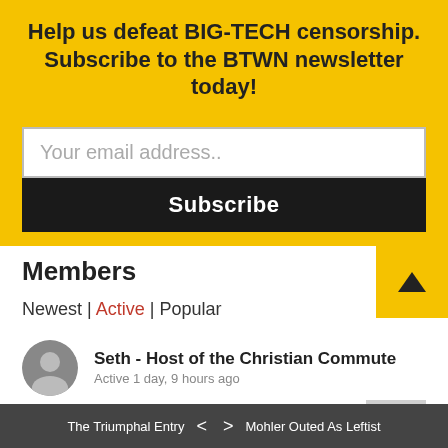Help us defeat BIG-TECH censorship. Subscribe to the BTWN newsletter today!
Your email address..
Subscribe
Members
Newest | Active | Popular
Seth - Host of the Christian Commute
Active 1 day, 9 hours ago
Tim Hurd
Active 1 day, 19 hours ago
Josh Fritz
Active 4 days, 1 hour ago
John Brady
The Triumphal Entry  <  >  Mohler Outed As Leftist